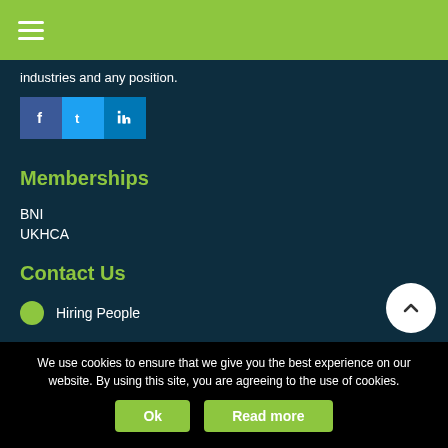[Figure (other): Hamburger menu icon (three horizontal lines) in green top bar]
industries and any position.
[Figure (other): Social media icons: Facebook (dark blue), Twitter (light blue), LinkedIn (dark blue)]
Memberships
BNI
UKHCA
Contact Us
Hiring People
We use cookies to ensure that we give you the best experience on our website. By using this site, you are agreeing to the use of cookies.
Ok
Read more